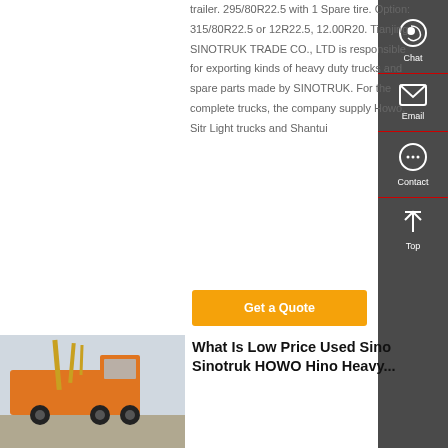trailer. 295/80R22.5 with 1 Spare tire. Option: 315/80R22.5 or 12R22.5, 12.00R20. Tianjing SINOTRUK TRADE CO., LTD is responsible for exporting kinds of heavy duty trucks and spare parts made by SINOTRUK. For the complete trucks, the company supply Howo, Sitr Light trucks and Shantui
[Figure (other): Orange Get a Quote button]
[Figure (photo): Orange Sinotruk heavy duty truck parked outdoors]
What Is Low Price Used Sino Sinotruk HOWO Hino Heavy...